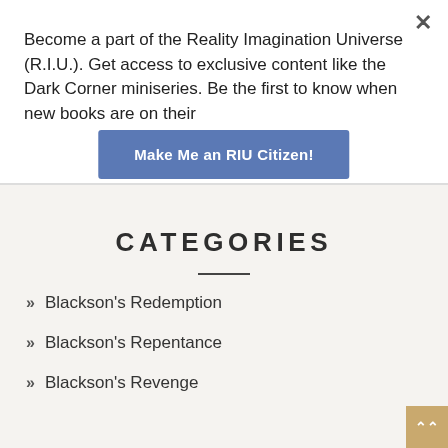Become a part of the Reality Imagination Universe (R.I.U.). Get access to exclusive content like the Dark Corner miniseries. Be the first to know when new books are on their
Make Me an RIU Citizen!
CATEGORIES
Blackson's Redemption
Blackson's Repentance
Blackson's Revenge